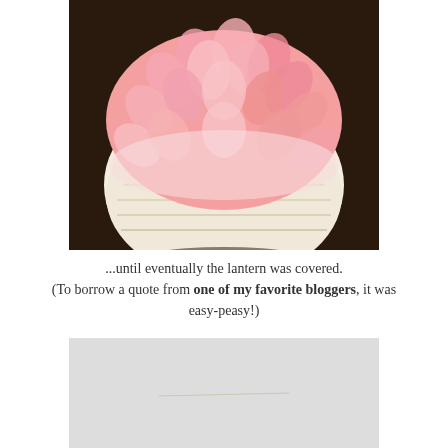[Figure (photo): A round paper lantern decorated with pink feathers on the top half, transitioning to white feathers/paper on the bottom half, set against a dark brown background.]
...until eventually the lantern was covered. (To borrow a quote from one of my favorite bloggers, it was easy-peasy!)
[Figure (photo): A light gray/white background, likely a wall or surface, with a very thin horizontal line or thread visible in the center.]